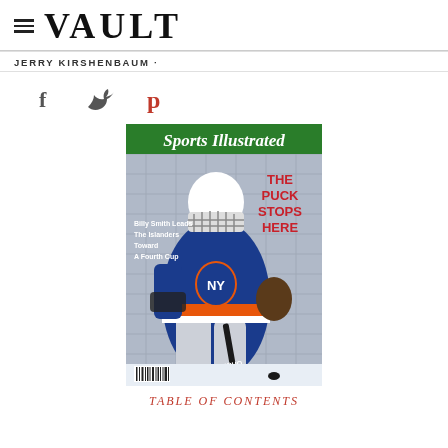≡ VAULT
JERRY KIRSHENBAUM ·
[Figure (illustration): Social media share icons: Facebook (f), Twitter (bird), Pinterest (P)]
[Figure (photo): Sports Illustrated magazine cover featuring a hockey goalie (Billy Smith) in New York Islanders uniform making a save. The cover headline reads 'THE PUCK STOPS HERE' in red. Left side text: 'Billy Smith Leads The Islanders Toward A Fourth Cup'. The Sports Illustrated logo appears in green at the top.]
TABLE OF CONTENTS